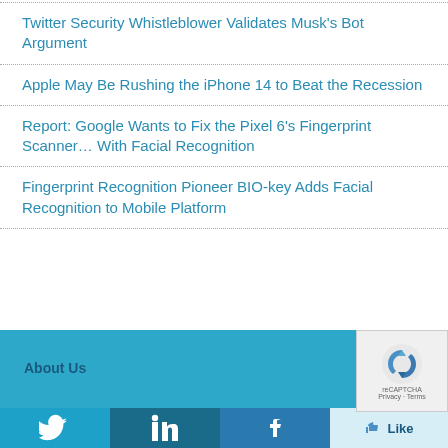Twitter Security Whistleblower Validates Musk's Bot Argument
Apple May Be Rushing the iPhone 14 to Beat the Recession
Report: Google Wants to Fix the Pixel 6's Fingerprint Scanner… With Facial Recognition
Fingerprint Recognition Pioneer BIO-key Adds Facial Recognition to Mobile Platform
About Us
[Figure (infographic): Footer with social media buttons: Twitter bird icon, LinkedIn 'in' icon, Facebook 'f' icon, and a Like button. Blue background footer area with About Us label.]